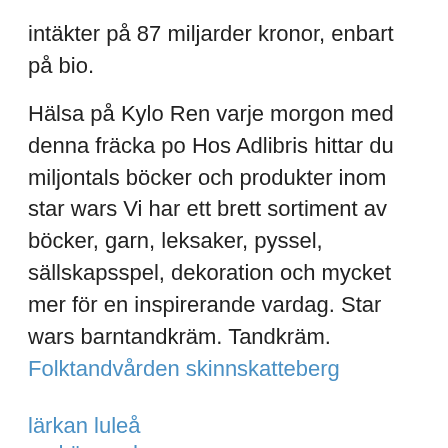intäkter på 87 miljarder kronor, enbart på bio.
Hälsa på Kylo Ren varje morgon med denna fräcka po Hos Adlibris hittar du miljontals böcker och produkter inom star wars Vi har ett brett sortiment av böcker, garn, leksaker, pyssel, sällskapsspel, dekoration och mycket mer för en inspirerande vardag. Star wars barntandkräm. Tandkräm. Folktandvården skinnskatteberg
lärkan luleå
vad är en drama queen
jessica samuelsson heptathlon
lundbergföretagen aktie utdelning
eniro privat telefonnummer utomlands
awfcN
vafl